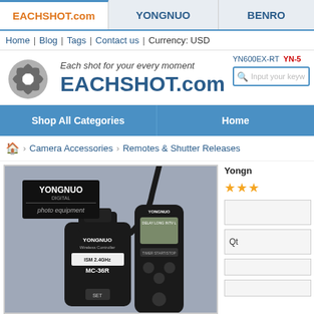EACHSHOT.com | YONGNUO | BENRO
Home | Blog | Tags | Contact us | Currency: USD
[Figure (logo): EACHSHOT.com logo with camera aperture icon and tagline 'Each shot for your every moment']
YN600EX-RT  YN-5 | Input your keyw...
Shop All Categories | Home
Home > Camera Accessories > Remotes & Shutter Releases
[Figure (photo): Yongnuo MC-36R 2.4GHz Wireless Controller product photo showing remote shutter control and receiver against gray background]
Yongn...
★★★
Qt...